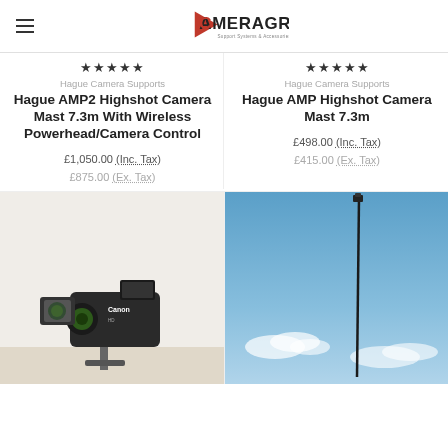CameraGrip - Support Systems & Accessories
★★★★★ — Hague Camera Supports — Hague AMP2 Highshot Camera Mast 7.3m With Wireless Powerhead/Camera Control — £1,050.00 (Inc. Tax) — £875.00 (Ex. Tax)
★★★★★ — Hague Camera Supports — Hague AMP Highshot Camera Mast 7.3m — £498.00 (Inc. Tax) — £415.00 (Ex. Tax)
[Figure (photo): Canon camcorder mounted on a tripod/stand with a light attached, on a white/cream background]
[Figure (photo): A tall camera mast pole extended against a blue sky with white clouds]